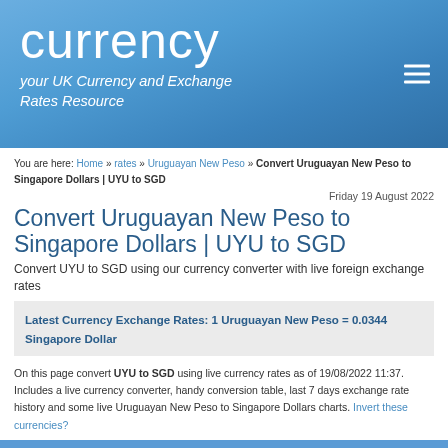currency
your UK Currency and Exchange Rates Resource
You are here: Home » rates » Uruguayan New Peso » Convert Uruguayan New Peso to Singapore Dollars | UYU to SGD
Friday 19 August 2022
Convert Uruguayan New Peso to Singapore Dollars | UYU to SGD
Convert UYU to SGD using our currency converter with live foreign exchange rates
Latest Currency Exchange Rates: 1 Uruguayan New Peso = 0.0344 Singapore Dollar
On this page convert UYU to SGD using live currency rates as of 19/08/2022 11:37. Includes a live currency converter, handy conversion table, last 7 days exchange rate history and some live Uruguayan New Peso to Singapore Dollars charts. Invert these currencies?
Currency Converter